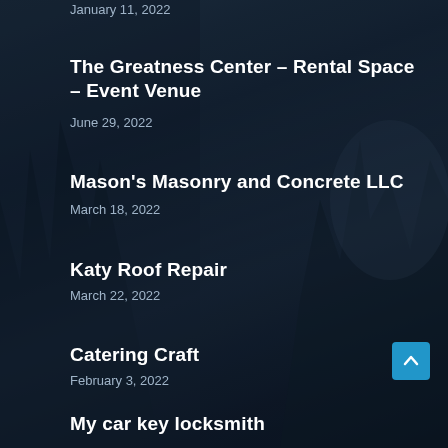January 11, 2022
The Greatness Center – Rental Space – Event Venue
June 29, 2022
Mason's Masonry and Concrete LLC
March 18, 2022
Katy Roof Repair
March 22, 2022
Catering Craft
February 3, 2022
My car key locksmith